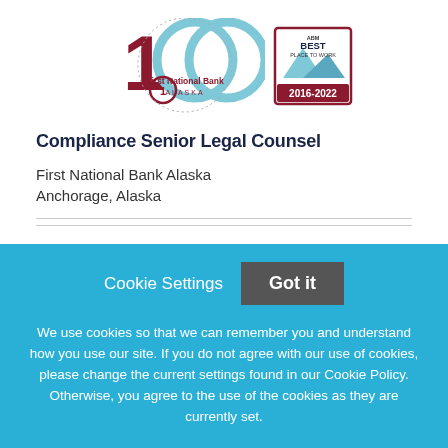[Figure (logo): First National Bank Alaska 100th anniversary logo with ABM Best Place to Work 2016-2022 badge]
Compliance Senior Legal Counsel
First National Bank Alaska
Anchorage, Alaska
Cookie Settings
Got it
We use cookies so that we can remember you and understand how you use our site. If you do not agree with our use of cookies, please change the current settings found in our Cookie Policy. Otherwise, you agree to the use of the cookies as they are currently set.